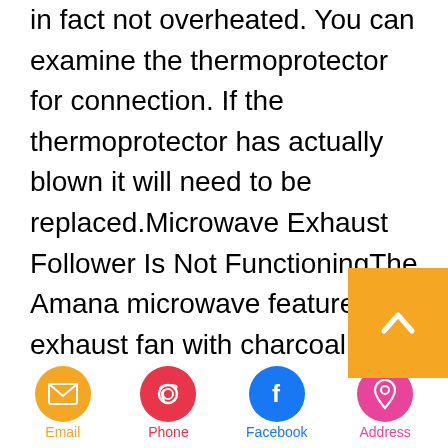in fact not overheated. You can examine the thermoprotector for connection. If the thermoprotector has actually blown it will need to be replaced.Microwave Exhaust Follower Is Not FunctioningThe Amana microwave features an exhaust fan with charcoal filter. If your microwave is not heating up food properly the exhaust fan could be to blame. To take a look at the exhaust follower, eliminate the fan motor from
[Figure (other): Orange/gold scroll-to-top button with upward chevron arrow]
Email | Phone | Facebook | Address